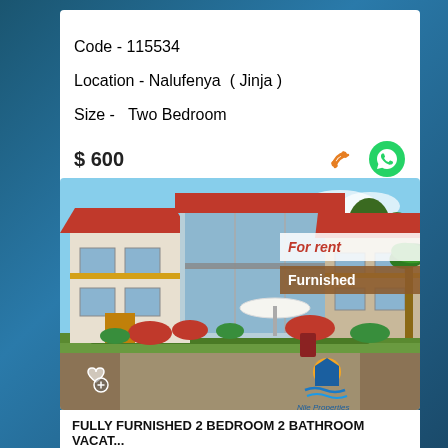Code - 115534
Location - Nalufenya ( Jinja )
Size - Two Bedroom
$ 600
[Figure (photo): Exterior photo of a large two-storey house with red-tiled roof, glass facade, lush garden, red flowers, and a patio umbrella. Overlaid badges read 'For rent' and 'Furnished'. Nile Properties logo bottom right, heart/add icon bottom left.]
FULLY FURNISHED 2 BEDROOM 2 BATHROOM VACAT...